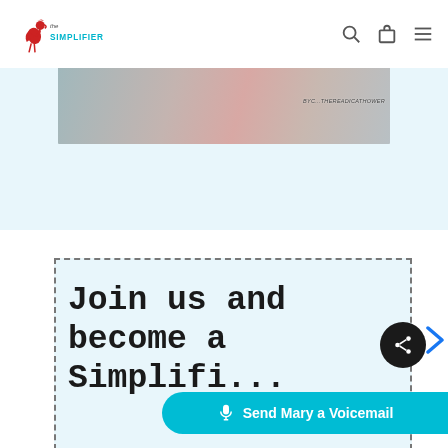The Simplifiers — navigation header with logo, search, bag, and menu icons
[Figure (screenshot): Partial image strip showing a blurred book or banner image with text on the right side]
[Figure (infographic): Light blue wave background section]
Join us and become a Simplifi...
[Figure (other): Dark circular share button with share icon]
Send Mary a Voicemail